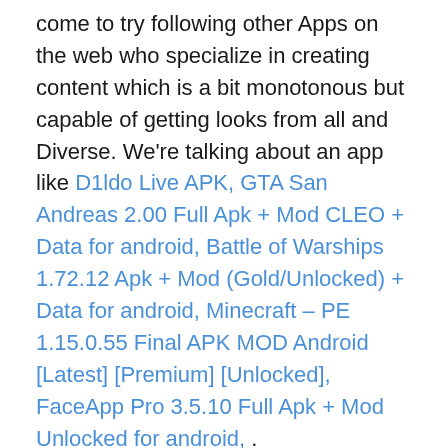come to try following other Apps on the web who specialize in creating content which is a bit monotonous but capable of getting looks from all and Diverse. We're talking about an app like D1ldo Live APK, GTA San Andreas 2.00 Full Apk + Mod CLEO + Data for android, Battle of Warships 1.72.12 Apk + Mod (Gold/Unlocked) + Data for android, Minecraft – PE 1.15.0.55 Final APK MOD Android [Latest] [Premium] [Unlocked], FaceApp Pro 3.5.10 Full Apk + Mod Unlocked for android, .
Download GTA Vice City 1.09 Apk Full + MOD (Unlimited Money) + Data Android Apk all version available here for free. If you want to download GTA Vice City 1.09 Apk Full + MOD (Unlimited Money) + Data Android Apk MOD, Full or GTA Vice City 1.09 Apk Full + MOD (Unlimited Money) + Data Android Apk Premium version then you can get it. Here in our portal almost all Premium and Free apk Including